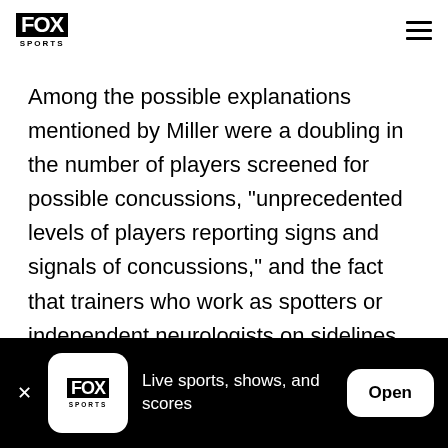FOX SPORTS
Among the possible explanations mentioned by Miller were a doubling in the number of players screened for possible concussions, "unprecedented levels of players reporting signs and signals of concussions," and the fact that trainers who work as spotters or independent neurologists on sidelines "are much more actively participating in identifying this injury."
[Figure (other): FOX Sports app install banner with logo, text 'Live sports, shows, and scores' and an Open button]